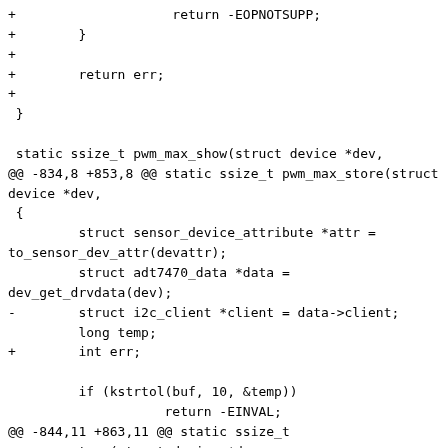Unified diff / patch code fragment showing changes to pwm_max_show and pwm_max_store functions in a Linux kernel driver (adt7470)